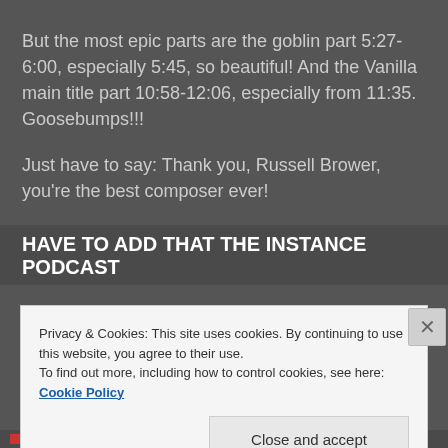But the most epic parts are the goblin part 5:27-6:00, especially 5:45, so beautiful! And the Vanilla main title part 10:58-12:06, especially from 11:35. Goosebumps!!!
Just have to say: Thank you, Russell Brower, you're the best composer ever!
HAVE TO ADD THAT THE INSTANCE PODCAST
Privacy & Cookies: This site uses cookies. By continuing to use this website, you agree to their use.
To find out more, including how to control cookies, see here: Cookie Policy